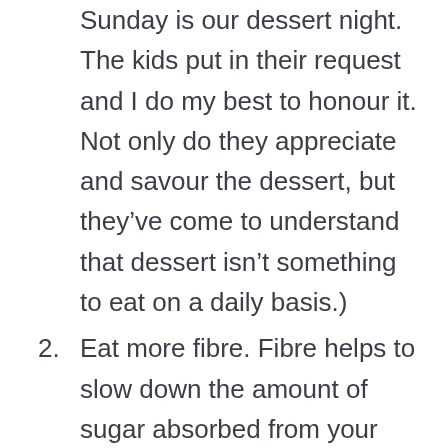Sunday is our dessert night. The kids put in their request and I do my best to honour it. Not only do they appreciate and savour the dessert, but they've come to understand that dessert isn't something to eat on a daily basis.)
2. Eat more fibre. Fibre helps to slow down the amount of sugar absorbed from your meal; it reduces the “spike” in your blood sugar level.  Fibre is found in plant-based foods (as